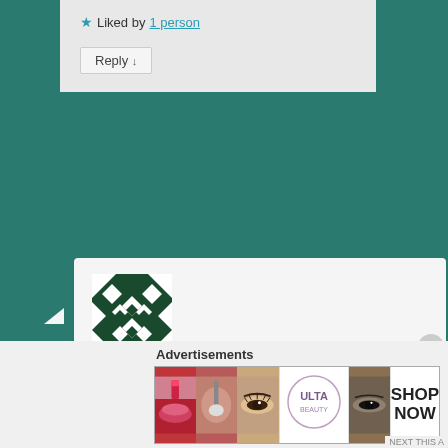★ Liked by 1 person
Reply ↓
[Figure (illustration): Geometric avatar icon: dark green background with white diamond and triangle pattern]
filmikudhi on November 13, 2021 at 9:40 am said:
He gives the money back. Awww sad baby Aamir!
★ Liked by 2 people
Advertisements
[Figure (illustration): Ulta Beauty advertisement banner with makeup images and SHOP NOW text]